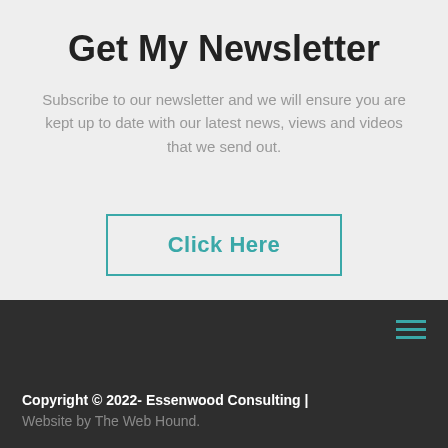Get My Newsletter
Subscribe to our newsletter and we will ensure you are kept up to date with our latest news, views and videos that we send out.
Click Here
Copyright © 2022- Essenwood Consulting | Website by The Web Hound.